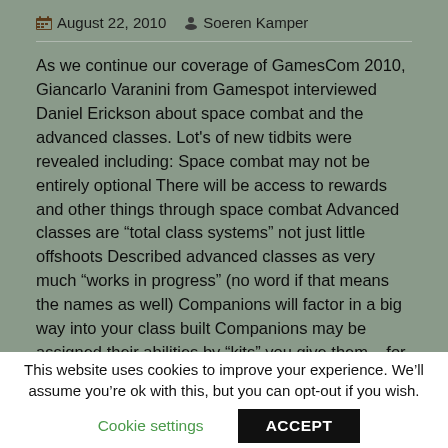August 22, 2010  Soeren Kamper
As we continue our coverage of GamesCom 2010, Giancarlo Varanini from Gamespot interviewed Daniel Erickson about space combat and the advanced classes. Lot's of new tidbits were revealed including: Space combat may not be entirely optional There will be access to rewards and other things through space combat Advanced classes are “total class systems” not just little offshoots Described advanced classes as very much “works in progress” (no word if that means the names as well) Companions will factor in a big way into your class built Companions may be assigned their abilities by “kits” you give them – for example, any companion can be a healer with the right kit Daniel remarks that the Force is not
This website uses cookies to improve your experience. We’ll assume you’re ok with this, but you can opt-out if you wish.
Cookie settings  ACCEPT